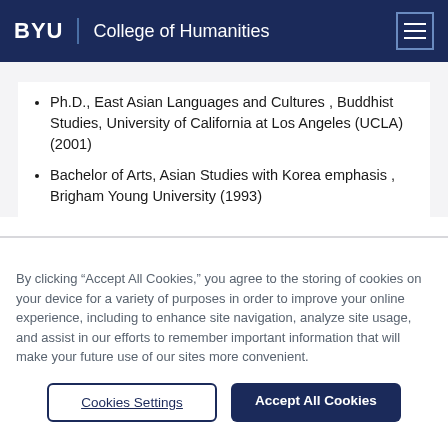BYU | College of Humanities
Ph.D., East Asian Languages and Cultures , Buddhist Studies, University of California at Los Angeles (UCLA) (2001)
Bachelor of Arts, Asian Studies with Korea emphasis , Brigham Young University (1993)
By clicking “Accept All Cookies,” you agree to the storing of cookies on your device for a variety of purposes in order to improve your online experience, including to enhance site navigation, analyze site usage, and assist in our efforts to remember important information that will make your future use of our sites more convenient.
Cookies Settings
Accept All Cookies